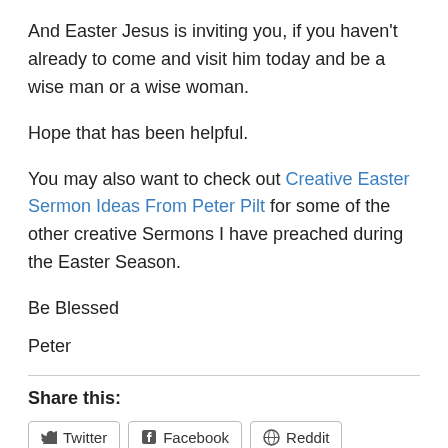And Easter Jesus is inviting you, if you haven't already to come and visit him today and be a wise man or a wise woman.
Hope that has been helpful.
You may also want to check out Creative Easter Sermon Ideas From Peter Pilt for some of the other creative Sermons I have preached during the Easter Season.
Be Blessed
Peter
Share this:
Twitter  Facebook  Reddit  Print  Pinterest  Email